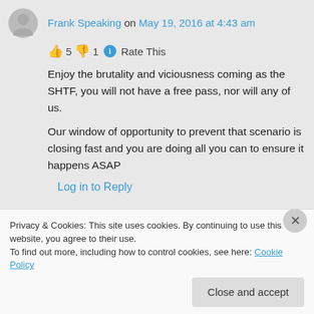Frank Speaking on May 19, 2016 at 4:43 am
👍 5 👎 1 ℹ Rate This
Enjoy the brutality and viciousness coming as the SHTF, you will not have a free pass, nor will any of us.
Our window of opportunity to prevent that scenario is closing fast and you are doing all you can to ensure it happens ASAP
Log in to Reply
Privacy & Cookies: This site uses cookies. By continuing to use this website, you agree to their use.
To find out more, including how to control cookies, see here: Cookie Policy
Close and accept